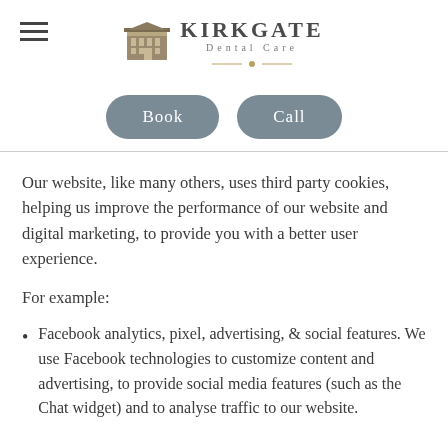Kirkgate Dental Care
[Figure (logo): Kirkgate Dental Care logo with building icon]
Our website, like many others, uses third party cookies, helping us improve the performance of our website and digital marketing, to provide you with a better user experience.
For example:
Facebook analytics, pixel, advertising, & social features. We use Facebook technologies to customize content and advertising, to provide social media features (such as the Chat widget) and to analyse traffic to our website.